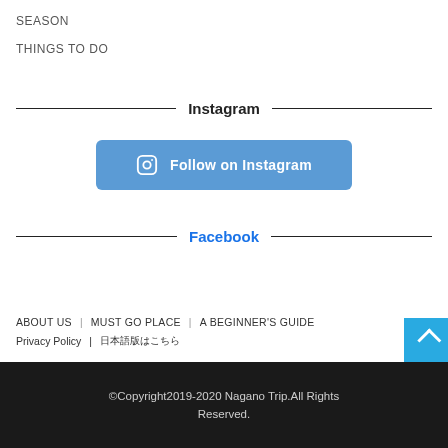SEASON
THINGS TO DO
Instagram
[Figure (other): Button: Follow on Instagram with Instagram icon, blue background]
Facebook
ABOUT US  MUST GO PLACE  A BEGINNER'S GUIDE  Privacy Policy  日本語版はこちら
©Copyright2019-2020 Nagano Trip.All Rights Reserved.